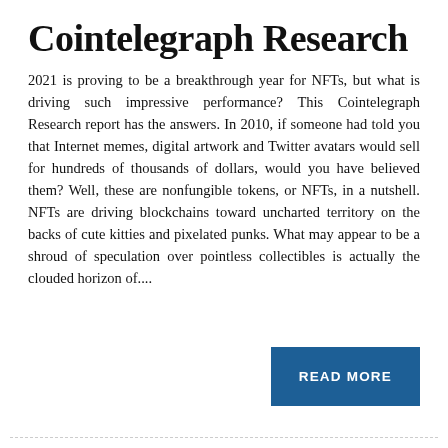Cointelegraph Research
2021 is proving to be a breakthrough year for NFTs, but what is driving such impressive performance? This Cointelegraph Research report has the answers. In 2010, if someone had told you that Internet memes, digital artwork and Twitter avatars would sell for hundreds of thousands of dollars, would you have believed them? Well, these are nonfungible tokens, or NFTs, in a nutshell. NFTs are driving blockchains toward uncharted territory on the backs of cute kitties and pixelated punks. What may appear to be a shroud of speculation over pointless collectibles is actually the clouded horizon of....
READ MORE